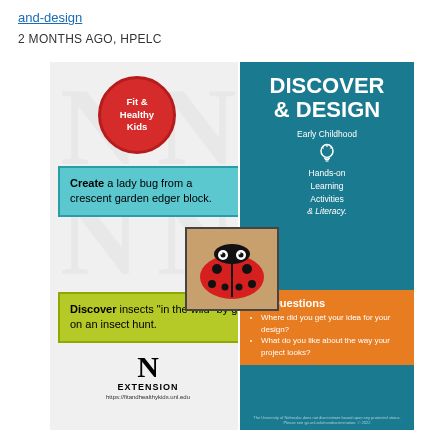and-design
2 MONTHS AGO, HPELC
[Figure (infographic): Educational infographic for 'Discover & Design' early childhood learning program. Left white panel has a red circular 'Fit & Healthy Kids' badge, a teal box saying 'Create a lady bug from a crescent garden edger block.', a green box saying 'Discover insects in the wild by going on an insect hunt.', and an N Extension logo. Right teal panel has the title 'DISCOVER & DESIGN' with subtitle 'Early Childhood Hands-on Learning Activities & Literacy.' An orange box at bottom right shows 'Ask Questions' with bullet points. A photo of a ladybug craft is in the center.]